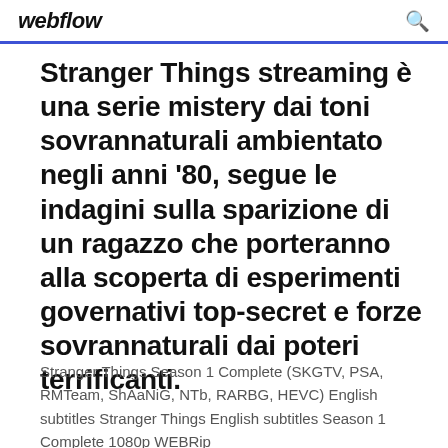webflow
Stranger Things streaming è una serie mistery dai toni sovrannaturali ambientato negli anni '80, segue le indagini sulla sparizione di un ragazzo che porteranno alla scoperta di esperimenti governativi top-secret e forze sovrannaturali dai poteri terrificanti.
Stranger Things Season 1 Complete (SKGTV, PSA, RMTeam, ShAaNiG, NTb, RARBG, HEVC) English subtitles Stranger Things English subtitles Season 1 Complete 1080p WEBRip